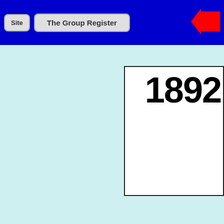Site | The Group Register
1892
| Role | Service/Location | Name/Date |
| --- | --- | --- |
|  | Mail Service | Moor
5 August |
| Master |  | E Griffin |
| Chief Officer |  | R W Hancock |
| Second Officer |  | H Strong |
| Third Officer |  | H E Butler |